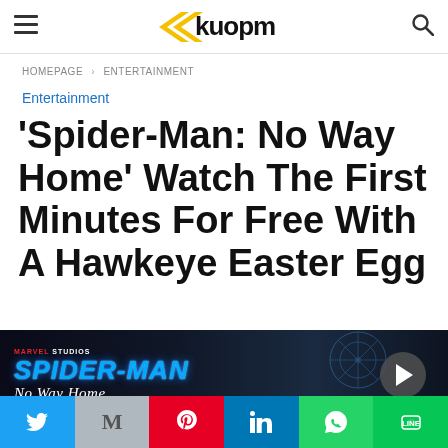Kuopm — site header with hamburger menu, logo, and search icon
HOMEPAGE › ENTERTAINMENT
Entertainment
'Spider-Man: No Way Home' Watch The First Minutes For Free With A Hawkeye Easter Egg
[Figure (screenshot): Spider-Man: No Way Home movie banner/thumbnail showing the Marvel Studios Spider-Man No Way Home logo in blue neon text on a dark background with a play button]
[Figure (infographic): Social sharing bar with Twitter, Gmail, Pinterest, LinkedIn, WhatsApp, and LINE buttons]